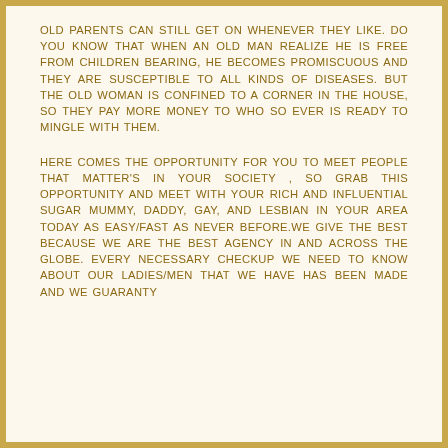OLD PARENTS CAN STILL GET ON WHENEVER THEY LIKE. DO YOU KNOW THAT WHEN AN OLD MAN REALIZE HE IS FREE FROM CHILDREN BEARING, HE BECOMES PROMISCUOUS AND THEY ARE SUSCEPTIBLE TO ALL KINDS OF DISEASES. BUT THE OLD WOMAN IS CONFINED TO A CORNER IN THE HOUSE, SO THEY PAY MORE MONEY TO WHO SO EVER IS READY TO MINGLE WITH THEM.
HERE COMES THE OPPORTUNITY FOR YOU TO MEET PEOPLE THAT MATTER'S IN YOUR SOCIETY , SO GRAB THIS OPPORTUNITY AND MEET WITH YOUR RICH AND INFLUENTIAL SUGAR MUMMY, DADDY, GAY, AND LESBIAN IN YOUR AREA TODAY AS EASY/FAST AS NEVER BEFORE.WE GIVE THE BEST BECAUSE WE ARE THE BEST AGENCY IN AND ACROSS THE GLOBE. EVERY NECESSARY CHECKUP WE NEED TO KNOW ABOUT OUR LADIES/MEN THAT WE HAVE HAS BEEN MADE AND WE GUARANTY